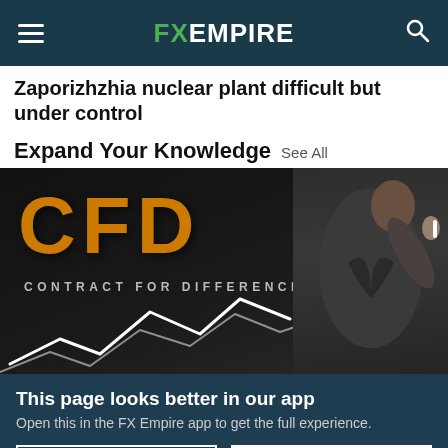FX EMPIRE
Zaporizhzhia nuclear plant difficult but under control
Expand Your Knowledge See All
[Figure (photo): A person writing on a blackboard with 'CFD CONTRACT FOR DIFFERENCE' text and a white chart line drawn below, with the person seen from behind in a business suit.]
This page looks better in our app
Open this in the FX Empire app to get the full experience.
NEXT TIME
OPEN IN APP